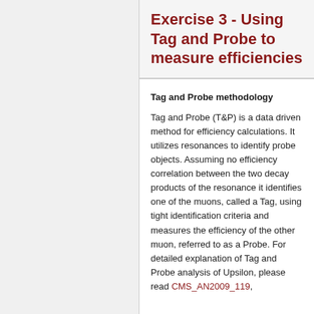Exercise 3 - Using Tag and Probe to measure efficiencies
Tag and Probe methodology
Tag and Probe (T&P) is a data driven method for efficiency calculations. It utilizes resonances to identify probe objects. Assuming no efficiency correlation between the two decay products of the resonance it identifies one of the muons, called a Tag, using tight identification criteria and measures the efficiency of the other muon, referred to as a Probe. For detailed explanation of Tag and Probe analysis of Upsilon, please read CMS_AN2009_119,